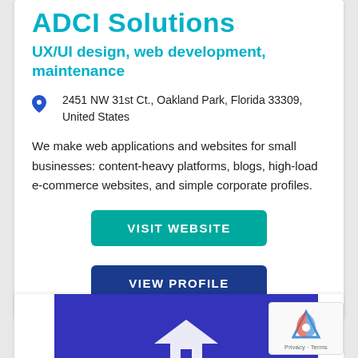ADCI Solutions
UX/UI design, web development, maintenance
2451 NW 31st Ct., Oakland Park, Florida 33309, United States
We make web applications and websites for small businesses: content-heavy platforms, blogs, high-load e-commerce websites, and simple corporate profiles.
VISIT WEBSITE
VIEW PROFILE
[Figure (screenshot): Bottom of page showing a blue banner with a white house/building icon]